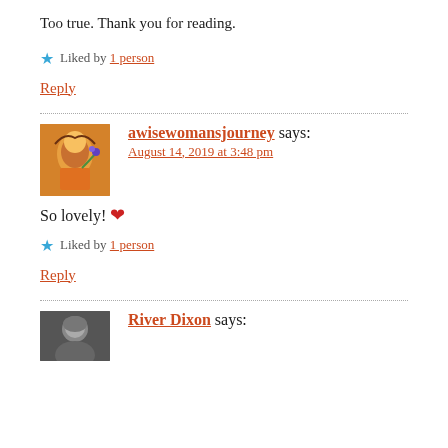Too true. Thank you for reading.
★ Liked by 1 person
Reply
[Figure (photo): Avatar image of awisewomansjourney commenter — colorful illustration of a figure holding flowers]
awisewomansjourney says:
August 14, 2019 at 3:48 pm
So lovely! ❤
★ Liked by 1 person
Reply
[Figure (photo): Avatar photo of River Dixon commenter — black and white portrait photo]
River Dixon says: